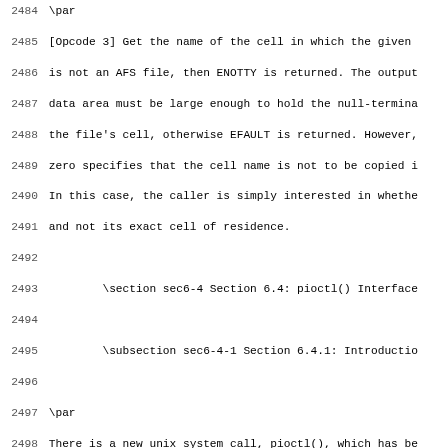2484 \par
2485 [Opcode 3] Get the name of the cell in which the given
2486 is not an AFS file, then ENOTTY is returned. The output
2487 data area must be large enough to hold the null-termina
2488 the file's cell, otherwise EFAULT is returned. However,
2489 zero specifies that the cell name is not to be copied i
2490 In this case, the caller is simply interested in whethe
2491 and not its exact cell of residence.
2492 
2493         \section sec6-4 Section 6.4: pioctl() Interface
2494 
2495         \subsection sec6-4-1 Section 6.4.1: Introductio
2496 
2497 \par
2498 There is a new unix system call, pioctl(), which has be
2499 support the AFS Cache Manager. Its functional definitio
2500 \code
2501 int afs syscall pioctl(IN char *a pathP,
2502                         IN int a opcode,
2503                         IN struct ViceIoctl *a paramsP,
2504                         IN int a followSymLinks)
2505 \endcode
2506 \par
2507 This new call is much like the standard ioctl() call, b
2508 affected file (when applicable) is specified by its pat
2509 descriptor. Another difference is the fourth parameter,
2510 determines which file should be used should a pathP be
2511 followSymLinks be set to 1, then the symbolic link is f
2512 and the pioctl() is applied to that resulting file. If
2513 to 0, then the pioctl() applies to the symbolic link it
2514 \par
2515 Not all pioctl() calls affect files. In those cases, th